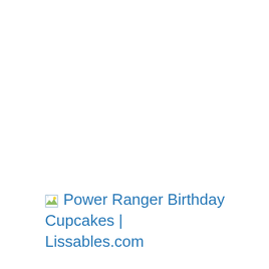[Figure (screenshot): Broken image icon (small landscape thumbnail placeholder) followed by linked text 'Power Ranger Birthday Cupcakes | Lissables.com' rendered as a hyperlink in blue.]